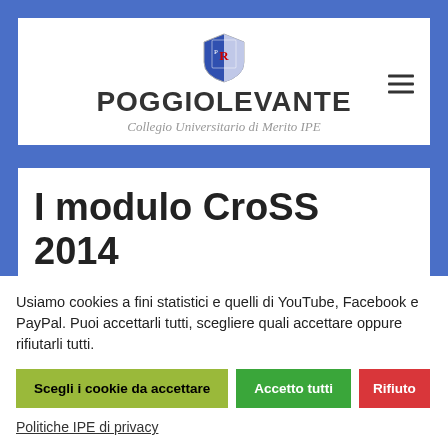[Figure (logo): Poggiolevante – Collegio Universitario di Merito IPE website header with shield logo and hamburger menu icon]
I modulo CroSS 2014
28/02/2014 - Dalle 15:00 alle
Usiamo cookies a fini statistici e quelli di YouTube, Facebook e PayPal. Puoi accettarli tutti, scegliere quali accettare oppure rifiutarli tutti.
Scegli i cookie da accettare | Accetto tutti | Rifiuto
Politiche IPE di privacy